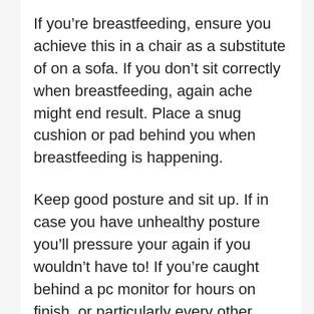If you're breastfeeding, ensure you achieve this in a chair as a substitute of on a sofa. If you don't sit correctly when breastfeeding, again ache might end result. Place a snug cushion or pad behind you when breastfeeding is happening.
Keep good posture and sit up. If in case you have unhealthy posture you'll pressure your again if you wouldn't have to! If you're caught behind a pc monitor for hours on finish, or particularly every other exercise that retains your consideration to the extent that you simply grow to be much less conscious of posture, you merely should be sitting in a snug and supportive chair. Attempt sitting on an train ball